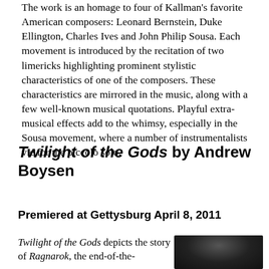The work is an homage to four of Kallman's favorite American composers: Leonard Bernstein, Duke Ellington, Charles Ives and John Philip Sousa. Each movement is introduced by the recitation of two limericks highlighting prominent stylistic characteristics of one of the composers. These characteristics are mirrored in the music, along with a few well-known musical quotations. Playful extra-musical effects add to the whimsy, especially in the Sousa movement, where a number of instrumentalists vie for the piccolo solo.
Twilight of the Gods by Andrew Boysen
Premiered at Gettysburg April 8, 2011
Twilight of the Gods depicts the story of Ragnarok, the end-of-the-
[Figure (photo): Dark portrait photo of a person, partially visible, dark background]